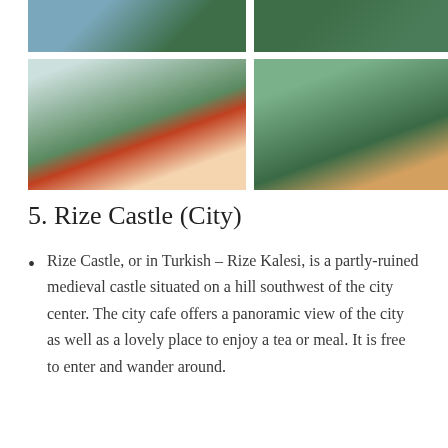[Figure (photo): Two photos in top row: left shows person in blue shirt near green tea fields, right shows hands picking tea leaves among green foliage.]
[Figure (photo): Two photos in second row: left shows a hand holding a traditional Turkish tulip-shaped tea glass with red tea, with green terraced tea fields in background; right shows green terraced tea field rows with hills and buildings in background, person walking through.]
5. Rize Castle (City)
Rize Castle, or in Turkish – Rize Kalesi, is a partly-ruined medieval castle situated on a hill southwest of the city center. The city cafe offers a panoramic view of the city as well as a lovely place to enjoy a tea or meal. It is free to enter and wander around.